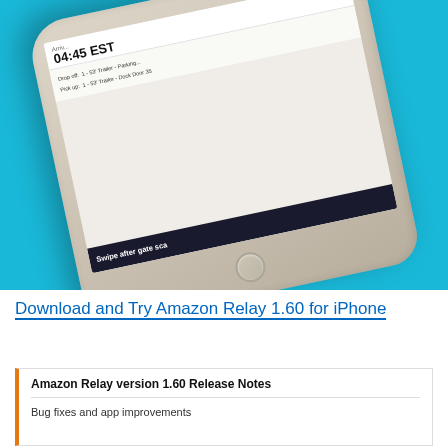[Figure (photo): A gold/silver iPhone displayed at an angle on a bright blue background. The phone screen shows an Amazon Relay app interface with arrival time 04:45 EST, drop off and pick up instructions for a 53-foot trailer at Dock Door 35, and a dark bar at the bottom reading 'Swipe after gate scan'.]
Download and Try Amazon Relay 1.60 for iPhone
Amazon Relay version 1.60 Release Notes
Bug fixes and app improvements